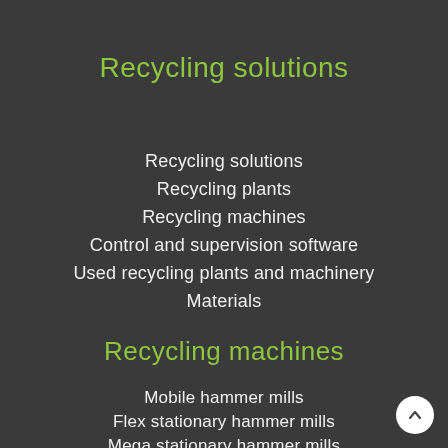Recycling solutions
Recycling solutions
Recycling plants
Recycling machines
Control and supervision software
Used recycling plants and machinery
Materials
Recycling machines
Mobile hammer mills
Flex stationary hammer mills
Mega stationary hammer mills